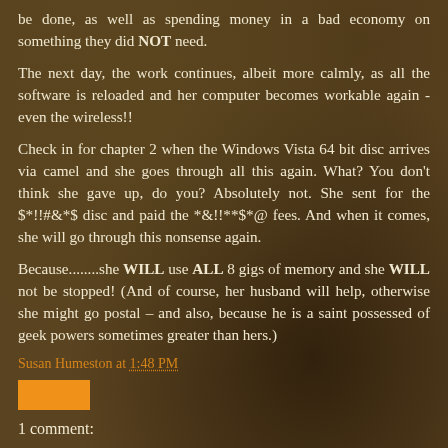be done, as well as spending money in a bad economy on something they did NOT need.
The next day, the work continues, albeit more calmly, as all the software is reloaded and her computer becomes workable again - even the wireless!!
Check in for chapter 2 when the Windows Vista 64 bit disc arrives via camel and she goes through all this again. What? You don't think she gave up, do you? Absolutely not. She sent for the $*!!#&*$ disc and paid the *&!!**$*@ fees. And when it comes, she will go through this nonsense again.
Because........she WILL use ALL 8 gigs of memory and she WILL not be stopped! (And of course, her husband will help, otherwise she might go postal – and also, because he is a saint possessed of geek powers sometimes greater than hers.)
Susan Humeston at 1:48 PM
[Figure (other): Orange rectangular button/label element]
1 comment: